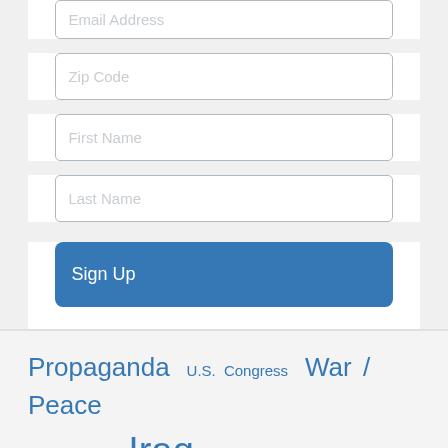Email Address
Zip Code
First Name
Last Name
Sign Up
Propaganda U.S. Congress War / Peace Marketing Iraq Activism Secrecy Lobbying Environment U.S. Government